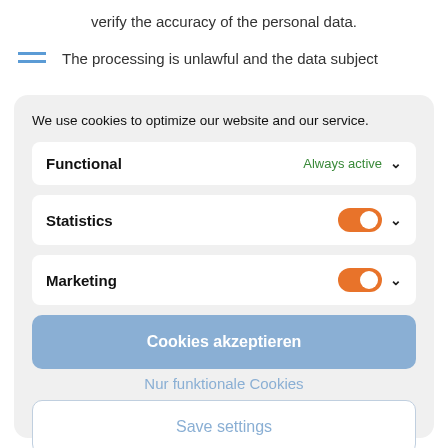verify the accuracy of the personal data.
The processing is unlawful and the data subject
We use cookies to optimize our website and our service.
Functional — Always active
Statistics — toggle on
Marketing — toggle on
Cookies akzeptieren
Nur funktionale Cookies
Save settings
Cookies Policy   Privacy Policy